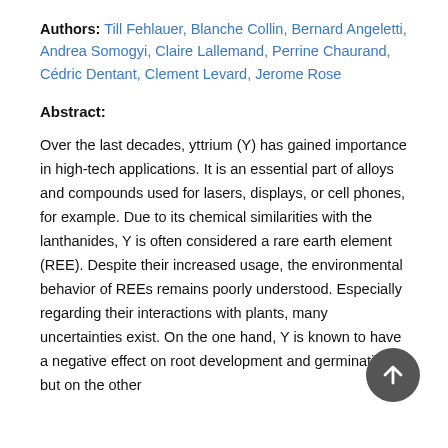Authors: Till Fehlauer, Blanche Collin, Bernard Angeletti, Andrea Somogyi, Claire Lallemand, Perrine Chaurand, Cédric Dentant, Clement Levard, Jerome Rose
Abstract:
Over the last decades, yttrium (Y) has gained importance in high-tech applications. It is an essential part of alloys and compounds used for lasers, displays, or cell phones, for example. Due to its chemical similarities with the lanthanides, Y is often considered a rare earth element (REE). Despite their increased usage, the environmental behavior of REEs remains poorly understood. Especially regarding their interactions with plants, many uncertainties exist. On the one hand, Y is known to have a negative effect on root development and germination, but on the other